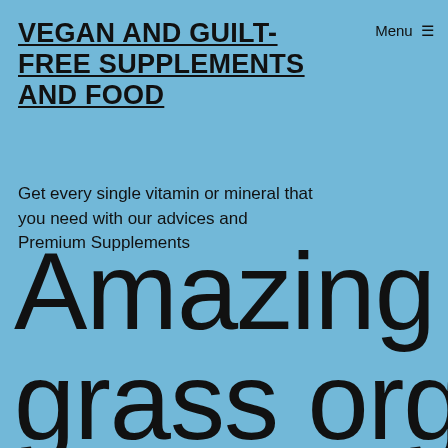VEGAN AND GUILT-FREE SUPPLEMENTS AND FOOD
Menu ☰
Get every single vitamin or mineral that you need with our advices and Premium Supplements
Amazing grass organic